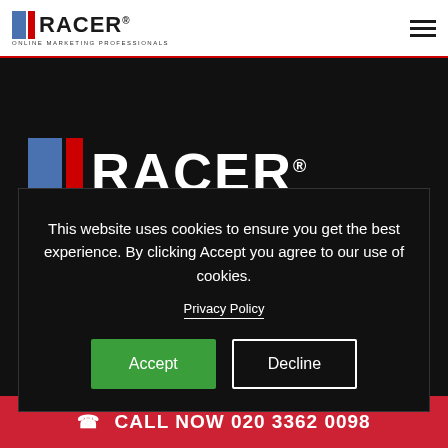[Figure (logo): RACER Online Marketing Professionals logo in header bar with blue rectangle and red stripe]
[Figure (logo): RACER Online Marketing Professionals large white logo on dark background]
Services
This website uses cookies to ensure you get the best experience. By clicking Accept you agree to our use of cookies.
Privacy Policy
Follow Us
CALL NOW 020 3362 0098